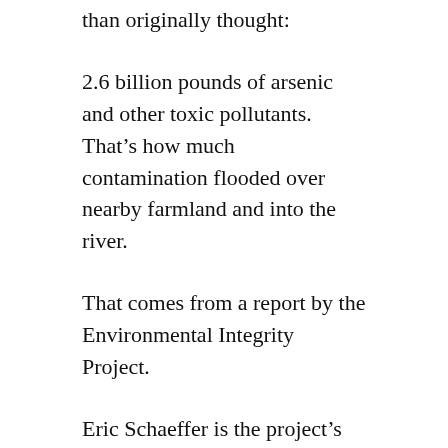than originally thought:
2.6 billion pounds of arsenic and other toxic pollutants. That’s how much contamination flooded over nearby farmland and into the river.
That comes from a report by the Environmental Integrity Project.
Eric Schaeffer is the project’s Executive Director and a former official with the Environmental Protection Agency. He says 2.6 billion pounds is more than the total